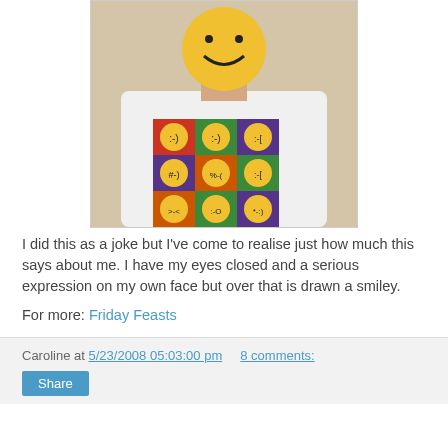[Figure (photo): Person wearing a white t-shirt with a 3x3 grid of emoticon faces on colored squares (red, green, purple, orange), and a large smiley face drawn over their actual face]
I did this as a joke but I've come to realise just how much this says about me. I have my eyes closed and a serious expression on my own face but over that is drawn a smiley.
For more: Friday Feasts
Caroline at 5/23/2008 05:03:00 pm   8 comments: